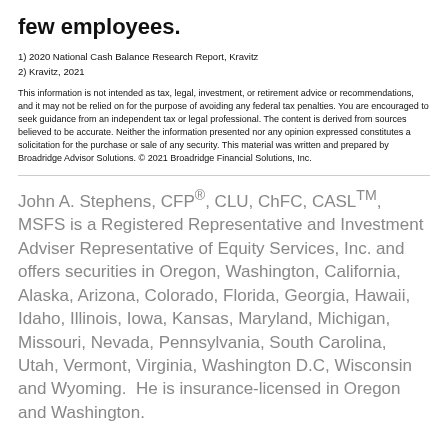few employees.
1) 2020 National Cash Balance Research Report, Kravitz
2) Kravitz, 2021
This information is not intended as tax, legal, investment, or retirement advice or recommendations, and it may not be relied on for the purpose of avoiding any federal tax penalties. You are encouraged to seek guidance from an independent tax or legal professional. The content is derived from sources believed to be accurate. Neither the information presented nor any opinion expressed constitutes a solicitation for the purchase or sale of any security. This material was written and prepared by Broadridge Advisor Solutions. © 2021 Broadridge Financial Solutions, Inc.
John A. Stephens, CFP®, CLU, ChFC, CASLTM, MSFS is a Registered Representative and Investment Adviser Representative of Equity Services, Inc. and offers securities in Oregon, Washington, California, Alaska, Arizona, Colorado, Florida, Georgia, Hawaii, Idaho, Illinois, Iowa, Kansas, Maryland, Michigan, Missouri, Nevada, Pennsylvania, South Carolina, Utah, Vermont, Virginia, Washington D.C, Wisconsin and Wyoming.  He is insurance-licensed in Oregon and Washington.